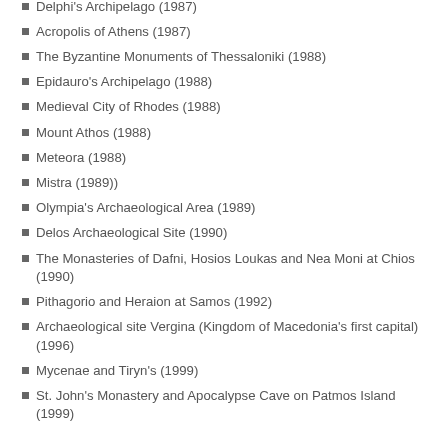Delphi's Archipelago (1987)
Acropolis of Athens (1987)
The Byzantine Monuments of Thessaloniki (1988)
Epidauro's Archipelago (1988)
Medieval City of Rhodes (1988)
Mount Athos (1988)
Meteora (1988)
Mistra (1989))
Olympia's Archaeological Area (1989)
Delos Archaeological Site (1990)
The Monasteries of Dafni, Hosios Loukas and Nea Moni at Chios (1990)
Pithagorio and Heraion at Samos (1992)
Archaeological site Vergina (Kingdom of Macedonia's first capital) (1996)
Mycenae and Tiryn's (1999)
St. John's Monastery and Apocalypse Cave on Patmos Island (1999)